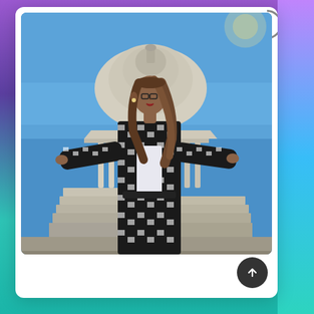[Figure (photo): A woman in a black and white houndstooth coat and matching trousers stands in front of the US Capitol building with arms outstretched, looking upward. Blue sky behind her. Steps of the Capitol visible.]